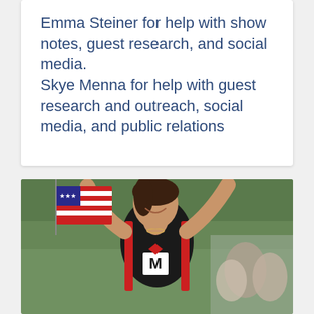Emma Steiner for help with show notes, guest research, and social media. Skye Menna for help with guest research and outreach, social media, and public relations
[Figure (photo): A woman in a black, red, and white triathlon suit with an 'M' logo raises both arms in celebration. She is smiling and an American flag is visible to her left. Green trees are in the background and spectators are visible to the right.]